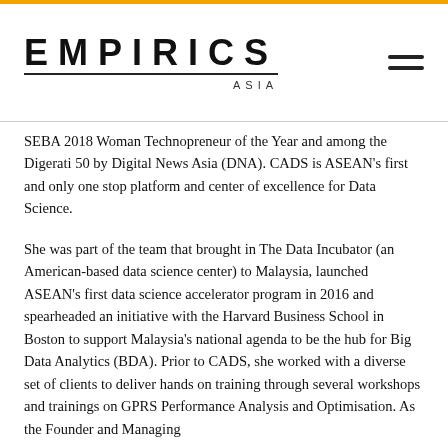EMPIRICS ASIA
SEBA 2018 Woman Technopreneur of the Year and among the Digerati 50 by Digital News Asia (DNA). CADS is ASEAN's first and only one stop platform and center of excellence for Data Science.
She was part of the team that brought in The Data Incubator (an American-based data science center) to Malaysia, launched ASEAN's first data science accelerator program in 2016 and spearheaded an initiative with the Harvard Business School in Boston to support Malaysia's national agenda to be the hub for Big Data Analytics (BDA). Prior to CADS, she worked with a diverse set of clients to deliver hands on training through several workshops and trainings on GPRS Performance Analysis and Optimisation. As the Founder and Managing